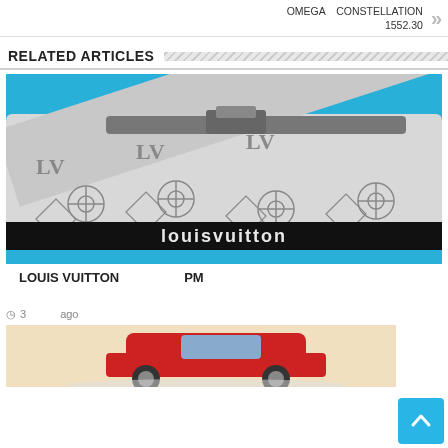OMEGA CONSTELLATION 1552.30
RELATED ARTICLES
[Figure (photo): Close-up photo of a Louis Vuitton monogram bag with a strap, silver/gray pattern on white leather, with 'louisvuitton' text on a black band]
LOUIS VUITTON PM
ago 3
[Figure (photo): Partial image of a red toy or model car on a light background]